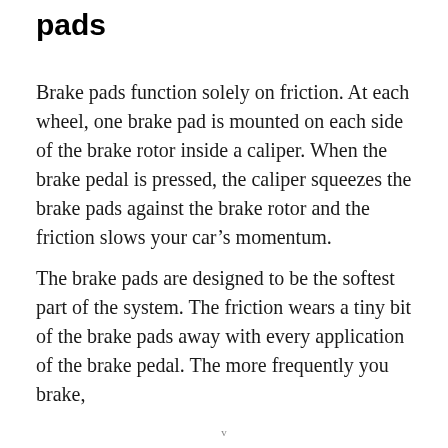pads
Brake pads function solely on friction. At each wheel, one brake pad is mounted on each side of the brake rotor inside a caliper. When the brake pedal is pressed, the caliper squeezes the brake pads against the brake rotor and the friction slows your car’s momentum.
The brake pads are designed to be the softest part of the system. The friction wears a tiny bit of the brake pads away with every application of the brake pedal. The more frequently you brake,
v